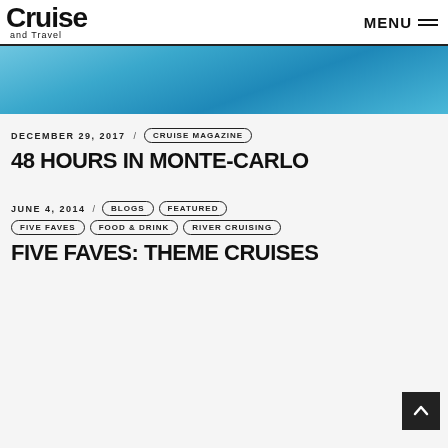Cruise and Travel / MENU
[Figure (photo): Blue ocean/water photo strip at top of article]
DECEMBER 29, 2017 / CRUISE MAGAZINE
48 HOURS IN MONTE-CARLO
JUNE 4, 2014 / BLOGS / FEATURED / FIVE FAVES / FOOD & DRINK / RIVER CRUISING
FIVE FAVES: THEME CRUISES